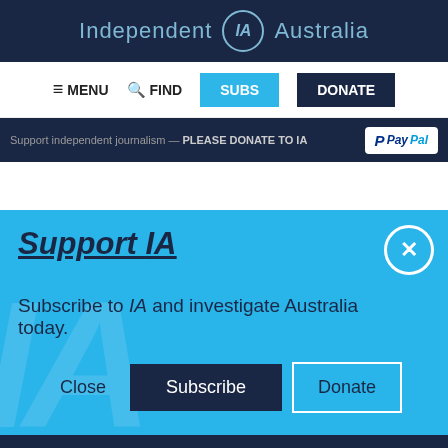Independent IA Australia
[Figure (screenshot): Navigation bar with MENU, FIND, SUBS, DONATE buttons]
[Figure (screenshot): Donation banner: Support independent journalism — PLEASE DONATE TO IA with PayPal button]
Support IA
Subscribe to IA and investigate Australia today.
[Figure (screenshot): Action buttons: Close, Subscribe, Donate]
Social media icons: Twitter, Facebook, LinkedIn, Flipboard, Link, Plus